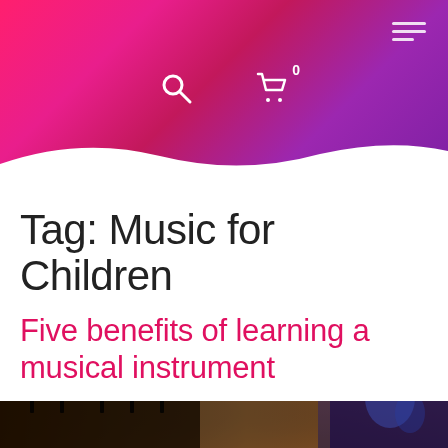[Figure (screenshot): Website header with gradient background (pink to purple), hamburger menu icon top-right, search and cart icons centered]
Tag: Music for Children
Five benefits of learning a musical instrument
[Figure (photo): Close-up blurred photo of a musical instrument (appears to be a piano keyboard on the left and a decorated instrument on the right with blue decorative elements)]